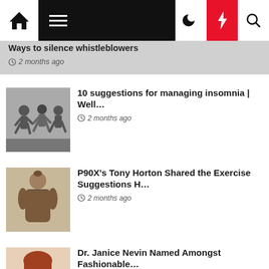Navigation bar with home, menu, moon, lightning, search icons
Ways to silence whistleblowers
2 months ago
[Figure (photo): Black and white photo of people running in a race]
10 suggestions for managing insomnia | Well…
2 months ago
[Figure (photo): Black and white photo of a muscular person from behind]
P90X's Tony Horton Shared the Exercise Suggestions H…
2 months ago
[Figure (photo): Photo of a smiling woman with red hair]
Dr. Janice Nevin Named Amongst Fashionable…
2 months ago
[Figure (photo): Photo of a man]
Texas' Uninsured Drawback